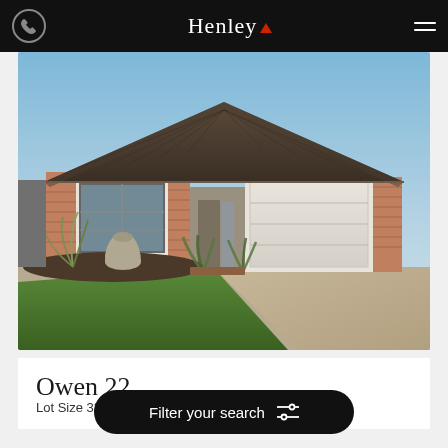Henley
[Figure (photo): Rendered exterior photo of a single-storey home named Owen 22 with dark tiled hip roof, brick facade, large front window, double garage, front garden with ornamental grass and decorative pot, concrete driveway, green lawn in foreground, blue sky background.]
Owen 22
Lot Size 338m²
Filter your search